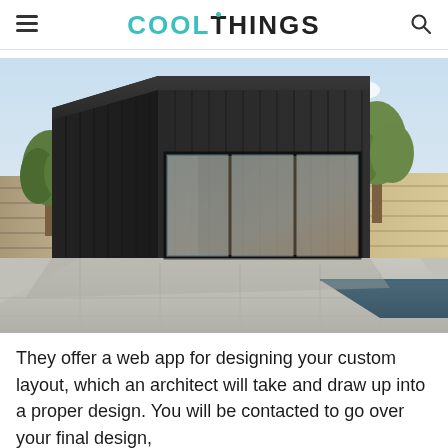COOLTHINGS
[Figure (photo): 3D architectural rendering of a modern black cube-shaped studio/backyard room with vertical cladding and large sliding glass doors, situated next to a pool and patio, with trees in the background and a wooden fence.]
They offer a web app for designing your custom layout, which an architect will take and draw up into a proper design. You will be contacted to go over your final design,